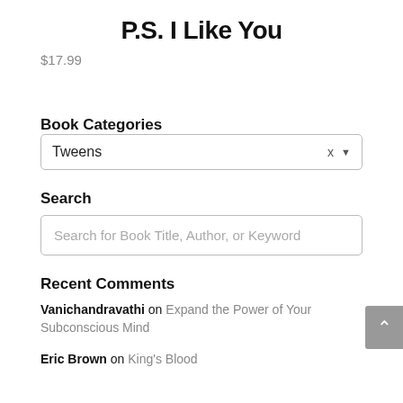P.S. I Like You
$17.99
Book Categories
Tweens
Search
Search for Book Title, Author, or Keyword
Recent Comments
Vanichandravathi on Expand the Power of Your Subconscious Mind
Eric Brown on King's Blood